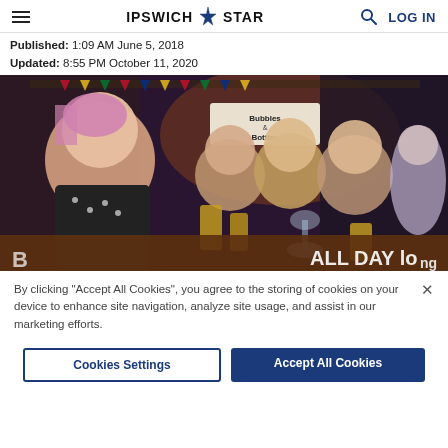IPSWICH STAR
Published: 1:09 AM June 5, 2018
Updated: 8:55 PM October 11, 2020
[Figure (photo): Group of people at a bar, smiling and posing for the camera. Sign reads 'Bubbles & Bottles'. Text overlay at bottom reads 'ALL DAY long'.]
By clicking "Accept All Cookies", you agree to the storing of cookies on your device to enhance site navigation, analyze site usage, and assist in our marketing efforts.
Cookies Settings | Accept All Cookies